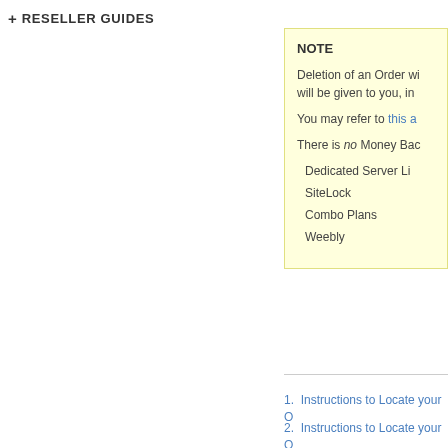+ RESELLER GUIDES
NOTE

Deletion of an Order wi will be given to you, in

You may refer to this a

There is no Money Bac

Dedicated Server Li

SiteLock

Combo Plans

Weebly
1.  Instructions to Locate your O
2.  Instructions to Locate your O